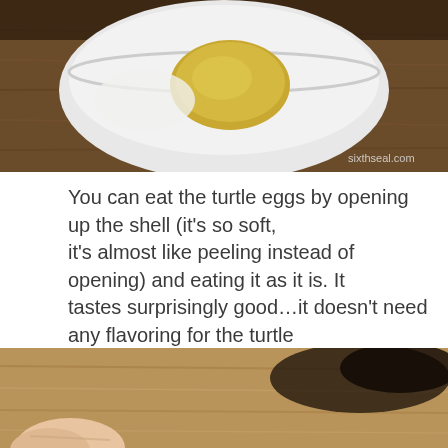[Figure (photo): Close-up photo of a turtle egg cracked open in a white bowl on a wooden surface, showing the yolk. Watermark 'sixthseal.com' in bottom right corner.]
You can eat the turtle eggs by opening up the shell (it's so soft, it's almost like peeling instead of opening) and eating it as it is. It tastes surprisingly good…it doesn't need any flavoring for the turtle egg taste to shine through. Unlike other eggs, turtle eggs have a distinct musky aftertaste to it.
[Figure (photo): Close-up photo of a wooden surface with a finger visible at the bottom and a dark shadow or object in the upper right.]